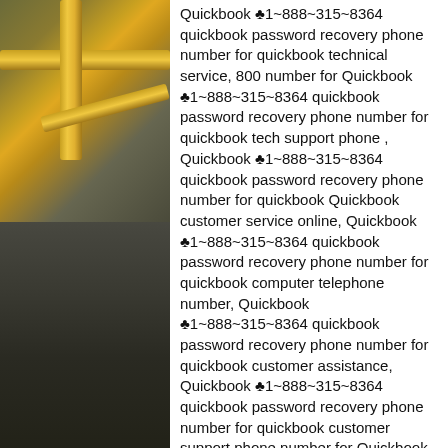[Figure (photo): Two-panel photo on the left side: top panel shows yellow/orange scaffolding or pipe structure against a dark background; bottom panel shows a dark gray shadowy background, possibly a staircase or structural element.]
Quickbook ♣1~888~315~8364 quickbook password recovery phone number for quickbook technical service, 800 number for Quickbook ♣1~888~315~8364 quickbook password recovery phone number for quickbook tech support phone , Quickbook ♣1~888~315~8364 quickbook password recovery phone number for quickbook Quickbook customer service online, Quickbook ♣1~888~315~8364 quickbook password recovery phone number for quickbook computer telephone number, Quickbook ♣1~888~315~8364 quickbook password recovery phone number for quickbook customer assistance, Quickbook ♣1~888~315~8364 quickbook password recovery phone number for quickbook customer support phone number for Quickbook customer service instead